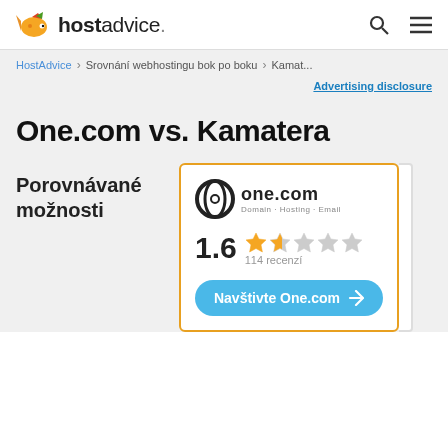hostadvice.
HostAdvice > Srovnání webhostingu bok po boku > Kamat...
Advertising disclosure
One.com vs. Kamatera
Porovnávané možnosti
[Figure (infographic): one.com logo with domain, hosting, email tagline, rating 1.6 out of 5 with 2 filled stars and 3 empty stars, 114 recenzí, and a blue Visit One.com button]